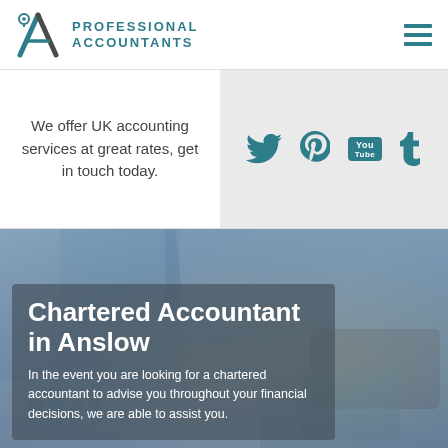[Figure (logo): Professional Accountants logo with stylized A and location pin icon]
[Figure (illustration): Hamburger menu icon (three horizontal lines) in teal]
We offer UK accounting services at great rates, get in touch today.
[Figure (infographic): Social media icons: Twitter, Pinterest, YouTube, Tumblr in teal on grey background]
[Figure (photo): Background photo of business people working with documents, calculator and keyboard]
Chartered Accountant in Anslow
In the event you are looking for a chartered accountant to advise you throughout your financial decisions, we are able to assist you.